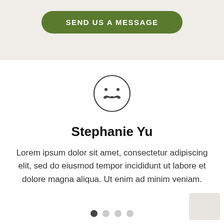[Figure (other): Green rounded button labeled SEND US A MESSAGE on a beige/cream background]
[Figure (illustration): Circle face icon with mustache, eyes represented as dots, outline style]
Stephanie Yu
Lorem ipsum dolor sit amet, consectetur adipiscing elit, sed do eiusmod tempor incididunt ut labore et dolore magna aliqua. Ut enim ad minim veniam.